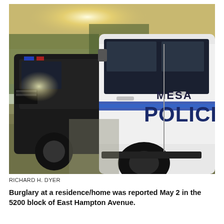[Figure (photo): Two Mesa Police SUV vehicles parked on a grassy area. The foreground vehicle is white with 'MESA POLICE' lettering in large blue text on the door. A second police vehicle is visible in the background with blue lights. Trees and sunlight visible in the background.]
RICHARD H. DYER
Burglary at a residence/home was reported May 2 in the 5200 block of East Hampton Avenue.